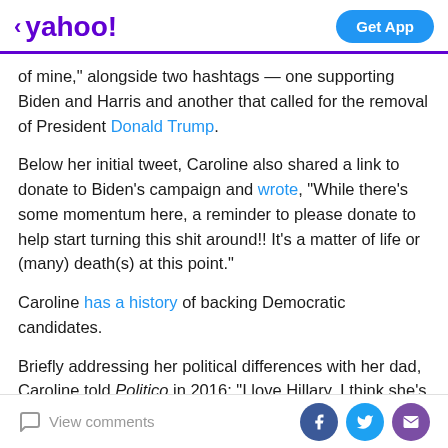< yahoo!  Get App
of mine," alongside two hashtags — one supporting Biden and Harris and another that called for the removal of President Donald Trump.
Below her initial tweet, Caroline also shared a link to donate to Biden's campaign and wrote, "While there's some momentum here, a reminder to please donate to help start turning this shit around!! It's a matter of life or (many) death(s) at this point."
Caroline has a history of backing Democratic candidates.
Briefly addressing her political differences with her dad, Caroline told Politico in 2016: "I love Hillary, I think she's by far the most qualified candidate that we've had in a
View comments